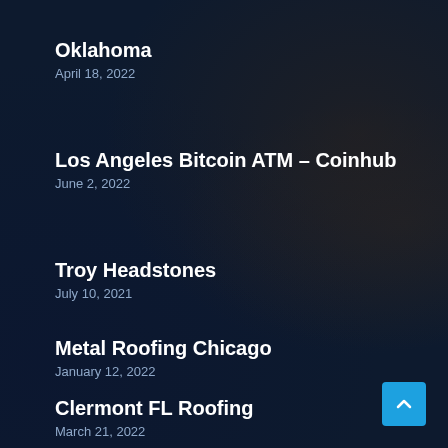Oklahoma
April 18, 2022
Los Angeles Bitcoin ATM – Coinhub
June 2, 2022
Troy Headstones
July 10, 2021
Metal Roofing Chicago
January 12, 2022
Clermont FL Roofing
March 21, 2022